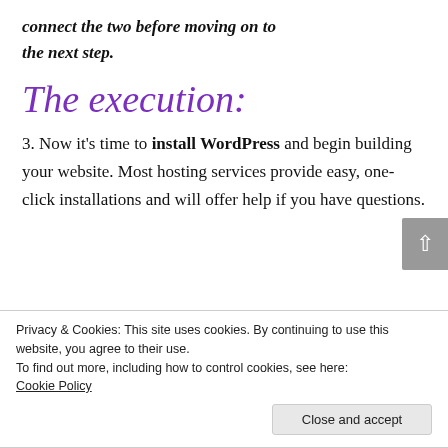connect the two before moving on to the next step.
The execution:
3. Now it's time to install WordPress and begin building your website. Most hosting services provide easy, one-click installations and will offer help if you have questions.
Privacy & Cookies: This site uses cookies. By continuing to use this website, you agree to their use.
To find out more, including how to control cookies, see here:
Cookie Policy
Close and accept